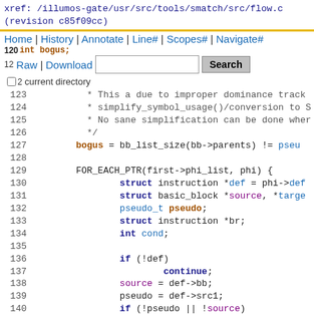xref: /illumos-gate/usr/src/tools/smatch/src/flow.c
(revision c85f09cc)
Home | History | Annotate | Line# | Scopes# | Navigate#
12Raw | Download [Search box] Search
□ 2current directory
Source code lines 123-145 of flow.c showing C code with syntax highlighting